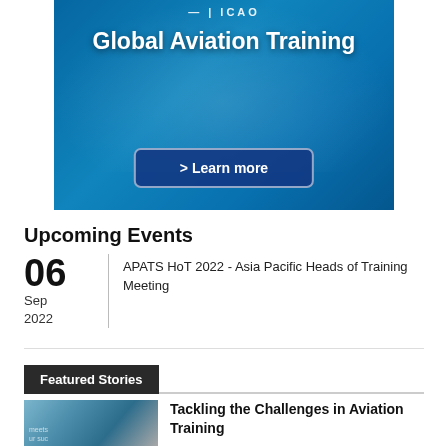[Figure (illustration): ICAO Global Aviation Training banner with blue teal background showing a laptop with video conference, logo at top right, title 'Global Aviation Training', and a 'Learn more' button]
Upcoming Events
06 Sep 2022 | APATS HoT 2022 - Asia Pacific Heads of Training Meeting
Featured Stories
[Figure (photo): Photo of people in an aviation training setting, partially visible]
Tackling the Challenges in Aviation Training